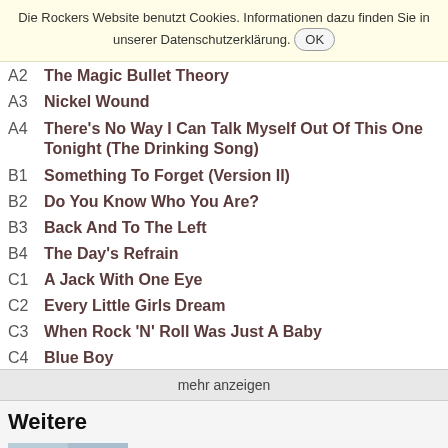Die Rockers Website benutzt Cookies. Informationen dazu finden Sie in unserer Datenschutzerklärung. OK
A2  The Magic Bullet Theory
A3  Nickel Wound
A4  There's No Way I Can Talk Myself Out Of This One Tonight (The Drinking Song)
B1  Something To Forget (Version II)
B2  Do You Know Who You Are?
B3  Back And To The Left
B4  The Day's Refrain
C1  A Jack With One Eye
C2  Every Little Girls Dream
C3  When Rock 'N' Roll Was Just A Baby
C4  Blue Boy
mehr anzeigen
Weitere
[Figure (photo): Album cover thumbnail, blue-grey tones]
World Be Free
The Anti-Circle